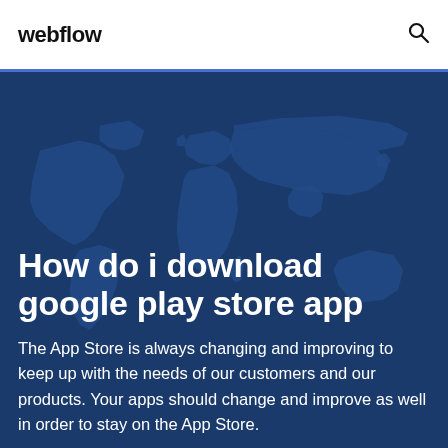webflow
[Figure (illustration): Dark blue world map background illustration]
How do i download google play store app
The App Store is always changing and improving to keep up with the needs of our customers and our products. Your apps should change and improve as well in order to stay on the App Store.